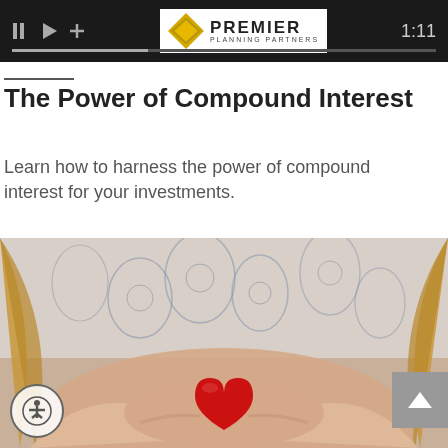[Figure (screenshot): Video player control bar with play/pause icons, progress bar, Premier Planning Partners logo (diamond shape with text), and time display showing 1:11]
The Power of Compound Interest
Learn how to harness the power of compound interest for your investments.
[Figure (photo): Close-up photo of a young woman in a floral patterned top, holding a red heart-shaped object in her cupped hands]